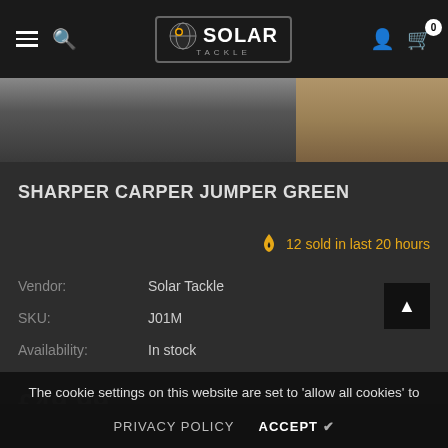Solar Tackle — navigation bar with hamburger, search, logo, user, cart (0)
[Figure (photo): Product image strip showing person wearing green jumper on left, outdoor/earth surface on right]
SHARPER CARPER JUMPER GREEN
🔥 12 sold in last 20 hours
Vendor: Solar Tackle
SKU: J01M
Availability: In stock
£49.99
Size
The cookie settings on this website are set to 'allow all cookies' to give you the very best experience. Please click Accept Cookies to continue to use the site.
PRIVACY POLICY   ACCEPT ✓
medium